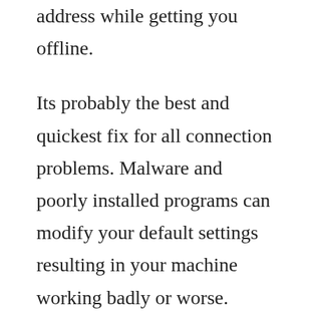address while getting you offline.
Its probably the best and quickest fix for all connection problems. Malware and poorly installed programs can modify your default settings resulting in your machine working badly or worse. Aplikasi di bawah ini tersedia secara gratis dan dapat anda download dengan sangat mudah. Select install instructions to see which packages are available for download, and make note of the one that you need select the appropriate language from the dropdown list, and then select download select the package you want to install, about to make a